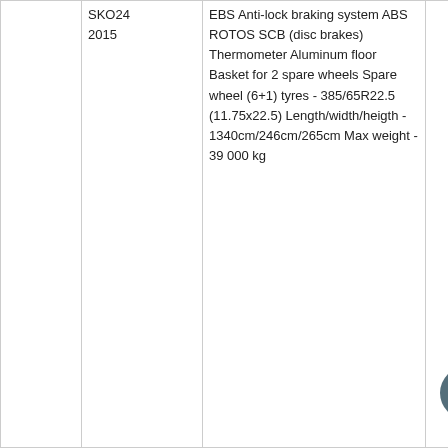|  | SKO24
2015 | EBS Anti-lock braking system ABS ROTOS SCB (disc brakes) Thermometer Aluminum floor Basket for 2 spare wheels Spare wheel (6+1) tyres - 385/65R22.5 (11.75x22.5) Length/width/heigth - 1340cm/246cm/265cm Max weight - 39 000 kg |  |